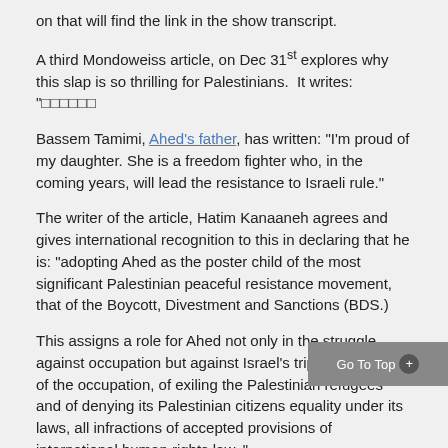on that will find the link in the show transcript.
A third Mondoweiss article, on Dec 31st explores why this slap is so thrilling for Palestinians.  It writes:  "      
Bassem Tamimi, Ahed’s father, has written: “I’m proud of my daughter. She is a freedom fighter who, in the coming years, will lead the resistance to Israeli rule.”
The writer of the article, Hatim Kanaaneh agrees and gives international recognition to this in declaring that he is: “adopting Ahed as the poster child of the most significant Palestinian peaceful resistance movement, that of the Boycott, Divestment and Sanctions (BDS.)
This assigns a role for Ahed not only in the struggle against occupation but against Israel’s triple moral crime of the occupation, of exiling the Palestinian refugees and of denying its Palestinian citizens equality under its laws, all infractions of accepted provisions of international human rights law. "
Kanaaneh goes into a bit of the historical significance of her name and her family background.  He then later adds this: “Another educated guess regarding Ahed’s name: I wager that